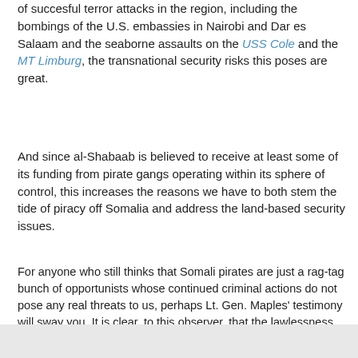of succesful terror attacks in the region, including the bombings of the U.S. embassies in Nairobi and Dar es Salaam and the seaborne assaults on the USS Cole and the MT Limburg, the transnational security risks this poses are great.
And since al-Shabaab is believed to receive at least some of its funding from pirate gangs operating within its sphere of control, this increases the reasons we have to both stem the tide of piracy off Somalia and address the land-based security issues.
For anyone who still thinks that Somali pirates are just a rag-tag bunch of opportunists whose continued criminal actions do not pose any real threats to us, perhaps Lt. Gen. Maples' testimony will sway you. It is clear, to this observer, that the lawlessness in the seas off Somalia and the anarchy ashore have the potential to create as grave a risk to our national securities as Afghanistan and the Taliban did. That's why we need to forcefully address it.